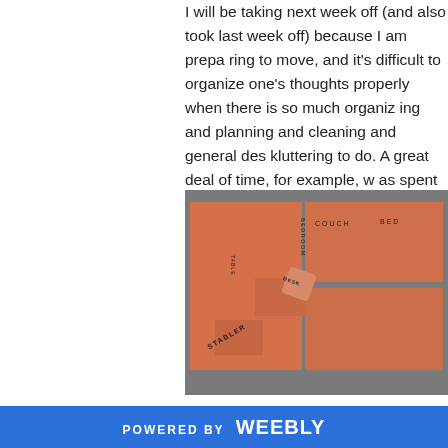I will be taking next week off (and also took last week off) because I am preparing to move, and it's difficult to organize one's thoughts properly when there is so much organizing and planning and cleaning and generaldeskluttering to do. A great deal of time, for example, was spent creating the following:
[Figure (photo): A photograph of orange/salmon-colored construction paper cut-outs arranged on a gray surface to form a floor plan layout. Labels written on the pieces include COUCH, BED, STABLER, and other room/furniture items.]
POWERED BY weebly